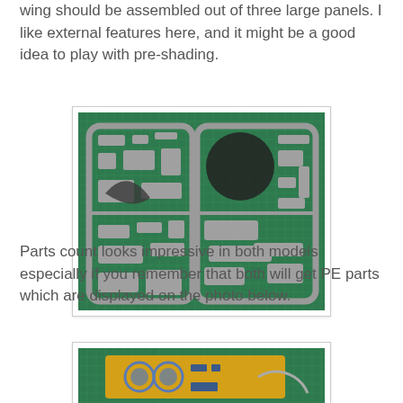wing should be assembled out of three large panels. I like external features here, and it might be a good idea to play with pre-shading.
[Figure (photo): Photo of a plastic model kit sprue on a green cutting mat, showing grey plastic parts including aircraft components arranged on two sprues]
Parts count looks impressive in both models especially if you remember that both will get PE parts which are displayed on the photo below.
[Figure (photo): Partial photo of a photo-etched (PE) parts fret on a green cutting mat, showing a yellow/gold colored PE sheet with detailed small parts]